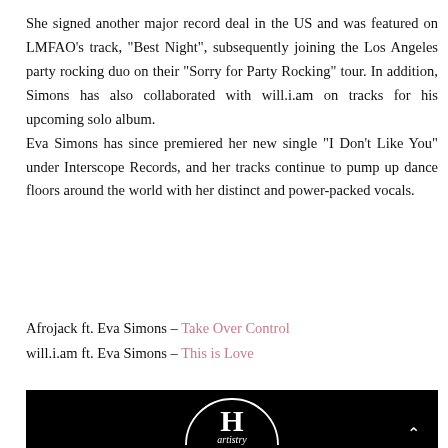She signed another major record deal in the US and was featured on LMFAO's track, "Best Night", subsequently joining the Los Angeles party rocking duo on their "Sorry for Party Rocking" tour. In addition, Simons has also collaborated with will.i.am on tracks for his upcoming solo album.
Eva Simons has since premiered her new single "I Don't Like You" under Interscope Records, and her tracks continue to pump up dance floors around the world with her distinct and power-packed vocals.
Afrojack ft. Eva Simons – Take Over Control
will.i.am ft. Eva Simons – This is Love
[Figure (logo): Black background with white circular logo reading 'H artistry' in stylized text]